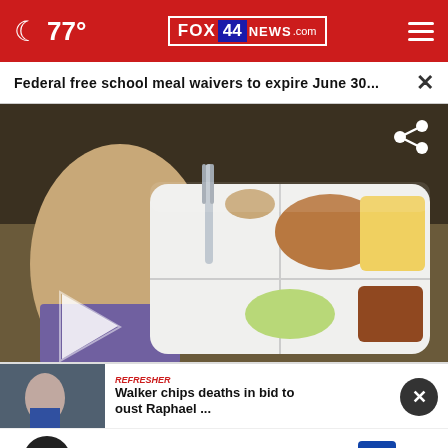77° FOX 44 NEWS.com
Federal free school meal waivers to expire June 30...
[Figure (photo): Child eating from a school lunch tray with compartments containing food items including what appears to be a meat patty, corn, apple slices, and sauce/drink. A fork is visible. Video player with play button overlay.]
refresher Walker chips deaths in bid to oust Raphael ...
In-store shopping